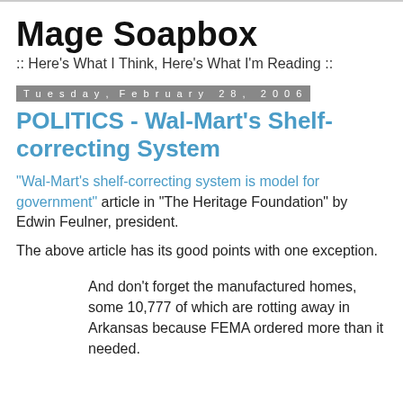Mage Soapbox
:: Here's What I Think, Here's What I'm Reading ::
Tuesday, February 28, 2006
POLITICS - Wal-Mart's Shelf-correcting System
"Wal-Mart's shelf-correcting system is model for government" article in "The Heritage Foundation" by Edwin Feulner, president.
The above article has its good points with one exception.
And don't forget the manufactured homes, some 10,777 of which are rotting away in Arkansas because FEMA ordered more than it needed.